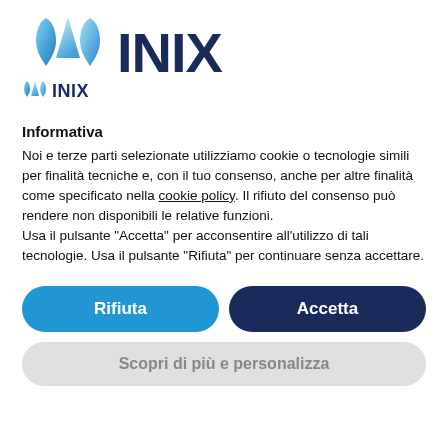[Figure (logo): INIX logo: water drop icons in blue gradient on the left, large 'INIX' text in dark navy on the right, smaller 'INIX' text with icon below]
Informativa
Noi e terze parti selezionate utilizziamo cookie o tecnologie simili per finalità tecniche e, con il tuo consenso, anche per altre finalità come specificato nella cookie policy. Il rifiuto del consenso può rendere non disponibili le relative funzioni.
Usa il pulsante "Accetta" per acconsentire all'utilizzo di tali tecnologie. Usa il pulsante "Rifiuta" per continuare senza accettare.
Rifiuta
Accetta
Scopri di più e personalizza